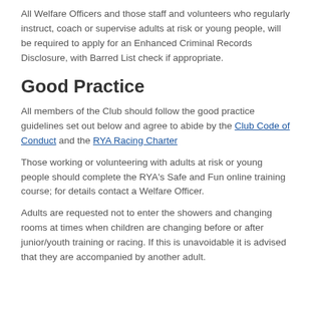All Welfare Officers and those staff and volunteers who regularly instruct, coach or supervise adults at risk or young people, will be required to apply for an Enhanced Criminal Records Disclosure, with Barred List check if appropriate.
Good Practice
All members of the Club should follow the good practice guidelines set out below and agree to abide by the Club Code of Conduct and the RYA Racing Charter
Those working or volunteering with adults at risk or young people should complete the RYA's Safe and Fun online training course; for details contact a Welfare Officer.
Adults are requested not to enter the showers and changing rooms at times when children are changing before or after junior/youth training or racing. If this is unavoidable it is advised that they are accompanied by another adult.